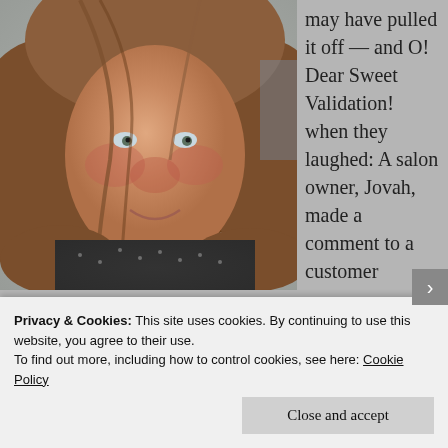[Figure (photo): A woman with voluminous curly reddish-brown hair, smiling at camera, wearing a dark patterned top. Hair covers much of her face.]
#selvahair
may have pulled it off — and O! Dear Sweet Validation! when they laughed: A salon owner, Jovah, made a comment to a customer
Privacy & Cookies: This site uses cookies. By continuing to use this website, you agree to their use.
To find out more, including how to control cookies, see here: Cookie Policy
Close and accept